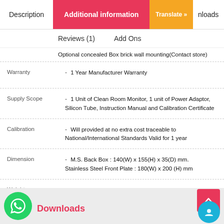Description | Additional information | Translate » | Downloads
Reviews (1)   Add Ons
Optional concealed Box brick wall mounting(Contact store)
| Field | Value |
| --- | --- |
| Warranty | - 1 Year Manufacturer Warranty |
| Supply Scope | - 1 Unit of Clean Room Monitor, 1 unit of Power Adaptor, Silicon Tube, Instruction Manual and Calibration Certificate |
| Calibration | - Will provided at no extra cost traceable to National/International Standards Valid for 1 year |
| Dimension | - M.S. Back Box : 140(W) x 155(H) x 35(D) mm. Stainless Steel Front Plate : 180(W) x 200 (H) mm |
| Weight | - 975 Grams |
Downloads